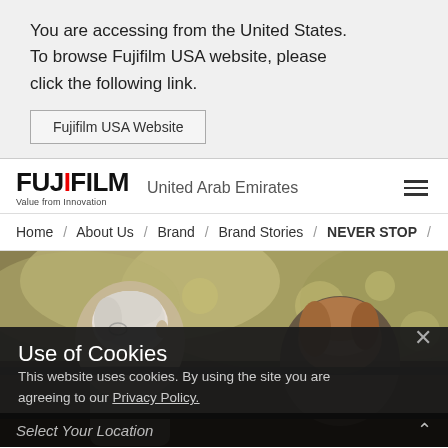You are accessing from the United States. To browse Fujifilm USA website, please click the following link.
Fujifilm USA Website
FUJIFILM United Arab Emirates
Home / About Us / Brand / Brand Stories / NEVER STOP /
[Figure (photo): Outdoor photo of two elderly people viewed from behind, surrounded by trees with bokeh background]
Use of Cookies
This website uses cookies. By using the site you are agreeing to our Privacy Policy.
Select Your Location